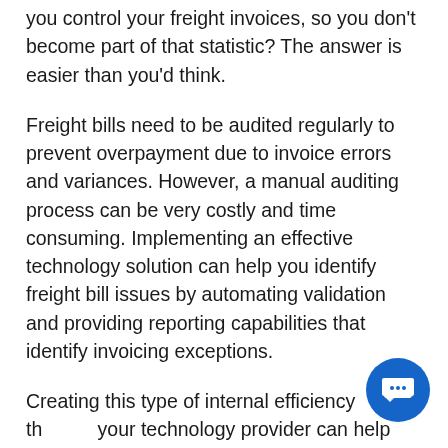you control your freight invoices, so you don't become part of that statistic? The answer is easier than you'd think.
Freight bills need to be audited regularly to prevent overpayment due to invoice errors and variances. However, a manual auditing process can be very costly and time consuming. Implementing an effective technology solution can help you identify freight bill issues by automating validation and providing reporting capabilities that identify invoicing exceptions.
Creating this type of internal efficiency th… your technology provider can help you sa… money through both direct and indirect savings